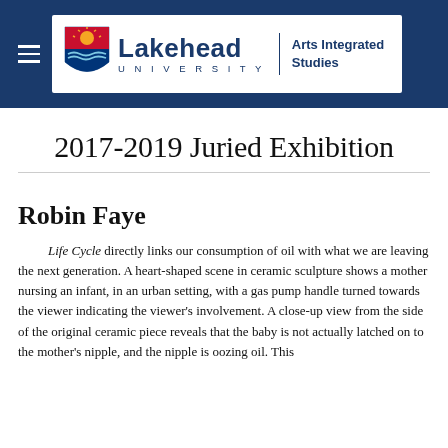Lakehead University Arts Integrated Studies
2017-2019 Juried Exhibition
Robin Faye
Life Cycle directly links our consumption of oil with what we are leaving the next generation. A heart-shaped scene in ceramic sculpture shows a mother nursing an infant, in an urban setting, with a gas pump handle turned towards the viewer indicating the viewer's involvement. A close-up view from the side of the original ceramic piece reveals that the baby is not actually latched on to the mother's nipple, and the nipple is oozing oil. This